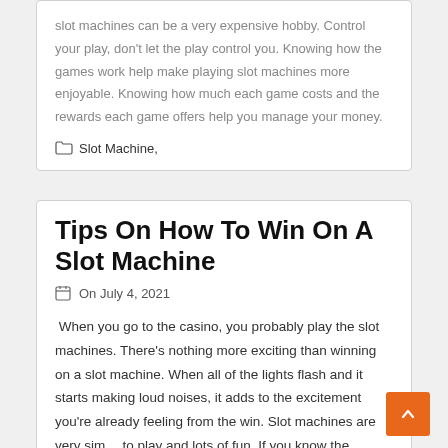slot machines can be a very expensive hobby. Control your play, don't let the play control you. Knowing how the games work help make playing slot machines more enjoyable. Knowing how much each game costs and the rewards each game offers help you manage your money.
Slot Machine,
Tips On How To Win On A Slot Machine
On July 4, 2021
When you go to the casino, you probably play the slot machines. There's nothing more exciting than winning on a slot machine. When all of the lights flash and it starts making loud noises, it adds to the excitement you're already feeling from the win. Slot machines are very sim… to play and lots of fun. If you know the correct strategies,